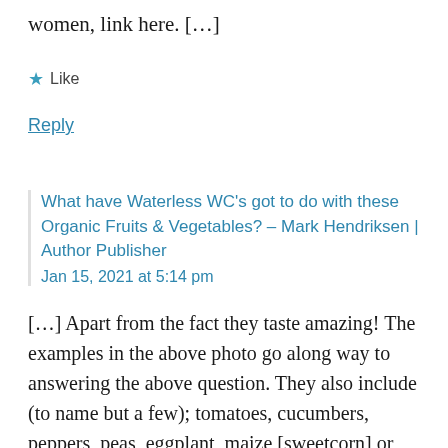women, link here. […]
★ Like
Reply
What have Waterless WC's got to do with these Organic Fruits & Vegetables? – Mark Hendriksen | Author Publisher
Jan 15, 2021 at 5:14 pm
[…] Apart from the fact they taste amazing! The examples in the above photo go along way to answering the above question. They also include (to name but a few); tomatoes, cucumbers, peppers, peas, eggplant, maize [sweetcorn] or leafy crops like cabbage, broccoli, spinach,